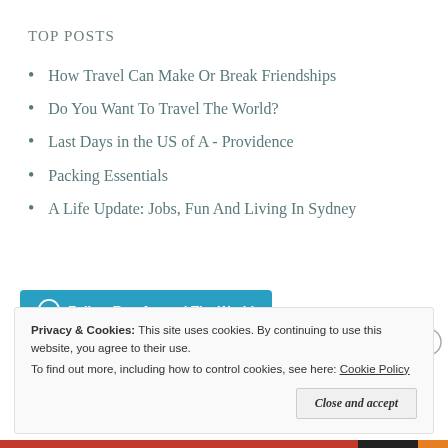Top Posts
How Travel Can Make Or Break Friendships
Do You Want To Travel The World?
Last Days in the US of A - Providence
Packing Essentials
A Life Update: Jobs, Fun And Living In Sydney
Follow Roo Around The World
Privacy & Cookies: This site uses cookies. By continuing to use this website, you agree to their use.
To find out more, including how to control cookies, see here: Cookie Policy
Close and accept